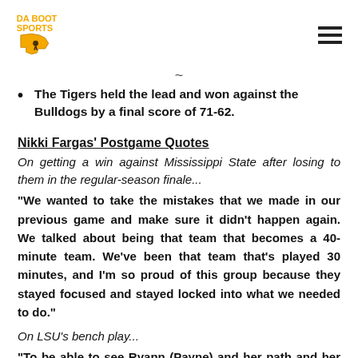Da Boot Sports [logo] [hamburger menu]
The Tigers held the lead and won against the Bulldogs by a final score of 71-62.
Nikki Fargas' Postgame Quotes
On getting a win against Mississippi State after losing to them in the regular-season finale...
“We wanted to take the mistakes that we made in our previous game and make sure it didn’t happen again. We talked about being that team that becomes a 40-minute team. We’ve been that team that’s played 30 minutes, and I’m so proud of this group because they stayed focused and stayed locked into what we needed to do.”
On LSU’s bench play...
“To be able to see Ryann (Payne) and her path and her journey to get